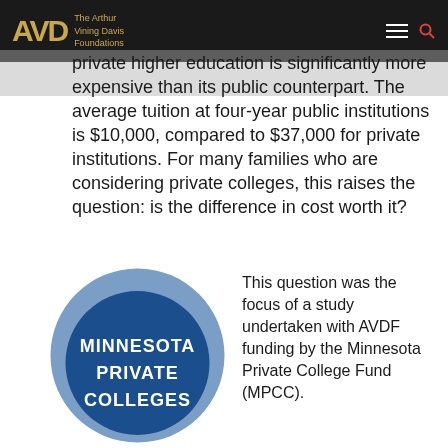The Arthur Vining Davis Foundations
private higher education is significantly more expensive than its public counterpart. The average tuition at four-year public institutions is $10,000, compared to $37,000 for private institutions. For many families who are considering private colleges, this raises the question: is the difference in cost worth it?
[Figure (logo): Minnesota Private Colleges circular logo — dark blue circle with 'MINNESOTA PRIVATE COLLEGES' text in white]
This question was the focus of a study undertaken with AVDF funding by the Minnesota Private College Fund (MPCC).